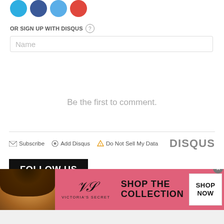[Figure (illustration): Social media icon buttons: Twitter (light blue), Facebook (dark blue), Google+ (light blue), Pinterest (red), all circular]
OR SIGN UP WITH DISQUS ?
Name
Be the first to comment.
Subscribe  Add Disqus  Do Not Sell My Data   DISQUS
FOLLOW US
[Figure (photo): Victoria's Secret advertisement banner with a model, VS logo, text 'SHOP THE COLLECTION', and a 'SHOP NOW' button on pink background]